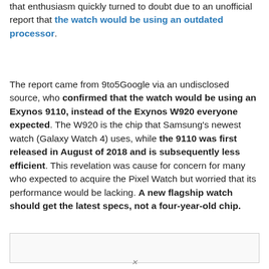that enthusiasm quickly turned to doubt due to an unofficial report that the watch would be using an outdated processor.
The report came from 9to5Google via an undisclosed source, who confirmed that the watch would be using an Exynos 9110, instead of the Exynos W920 everyone expected. The W920 is the chip that Samsung's newest watch (Galaxy Watch 4) uses, while the 9110 was first released in August of 2018 and is subsequently less efficient. This revelation was cause for concern for many who expected to acquire the Pixel Watch but worried that its performance would be lacking. A new flagship watch should get the latest specs, not a four-year-old chip.
[Figure (other): Empty image placeholder box]